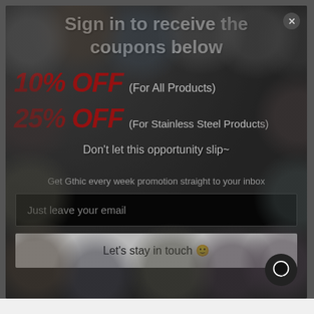Sign in to receive the coupons below
10% OFF (For All Products)
25% OFF (For Stainless Steel Products)
Don't let this opportunity slip~
Get Gthic every week promotion straight to your inbox
Just leave your email
Let's stay in touch 🙂